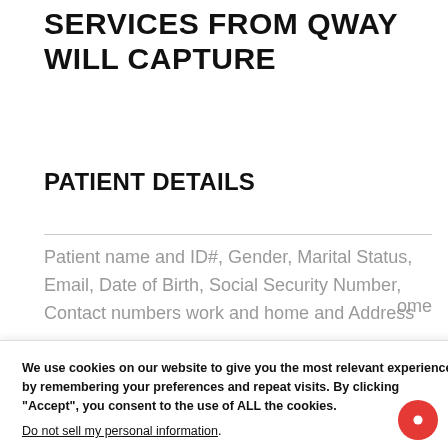SERVICES FROM QWAY WILL CAPTURE
PATIENT DETAILS
Patient name and ID#, Gender, Marital Status, Email, Date of Birth, Social Security Number, Contact numbers work and home and Address
We use cookies on our website to give you the most relevant experience by remembering your preferences and repeat visits. By clicking “Accept”, you consent to the use of ALL the cookies. Do not sell my personal information.
ome